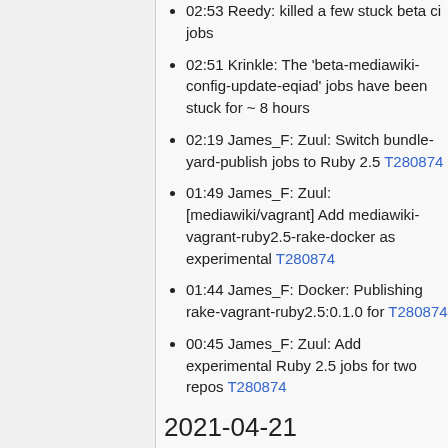02:53 Reedy: killed a few stuck beta ci jobs
02:51 Krinkle: The 'beta-mediawiki-config-update-eqiad' jobs have been stuck for ~ 8 hours
02:19 James_F: Zuul: Switch bundle-yard-publish jobs to Ruby 2.5 T280874
01:49 James_F: Zuul: [mediawiki/vagrant] Add mediawiki-vagrant-ruby2.5-rake-docker as experimental T280874
01:44 James_F: Docker: Publishing rake-vagrant-ruby2.5:0.1.0 for T280874
00:45 James_F: Zuul: Add experimental Ruby 2.5 jobs for two repos T280874
2021-04-21